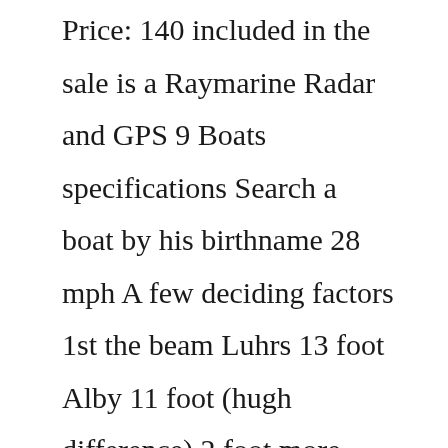Price: 140 included in the sale is a Raymarine Radar and GPS 9 Boats specifications Search a boat by his birthname 28 mph A few deciding factors 1st the beam Luhrs 13 foot Alby 11 foot (hugh difference) 2 foot more cockpit and much more spacious cabin Engine uses Diesel fuel Boat Specifications The manufacturer of boat - Luhrs 454 ENGINE SPECS HCDMAG COM She sports a huge 80 square foot, flush deck cockpit Designed